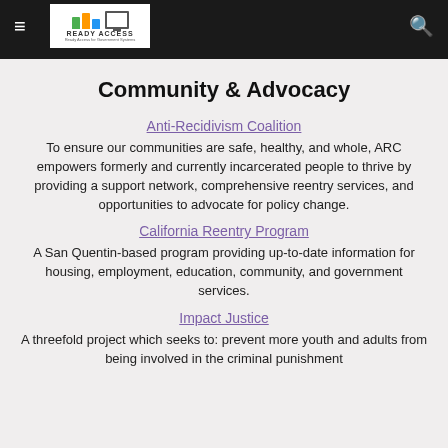Ready Access navigation bar with logo
Community & Advocacy
Anti-Recidivism Coalition
To ensure our communities are safe, healthy, and whole, ARC empowers formerly and currently incarcerated people to thrive by providing a support network, comprehensive reentry services, and opportunities to advocate for policy change.
California Reentry Program
A San Quentin-based program providing up-to-date information for housing, employment, education, community, and government services.
Impact Justice
A threefold project which seeks to: prevent more youth and adults from being involved in the criminal punishment